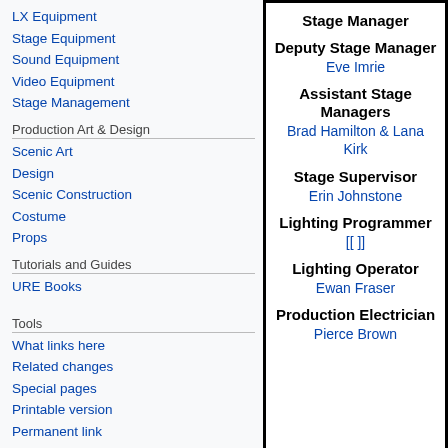LX Equipment
Stage Equipment
Sound Equipment
Video Equipment
Stage Management
Production Art & Design
Scenic Art
Design
Scenic Construction
Costume
Props
Tutorials and Guides
URE Books
Tools
What links here
Related changes
Special pages
Printable version
Permanent link
Page information
Stage Manager
Deputy Stage Manager
Eve Imrie
Assistant Stage Managers
Brad Hamilton & Lana Kirk
Stage Supervisor
Erin Johnstone
Lighting Programmer
[[ ]]
Lighting Operator
Ewan Fraser
Production Electrician
Pierce Brown
| # | Section |
| --- | --- |
| 1 | Summary |
| 2 | Company |
| 3 | Stage Management |
| 4 | Technical Stage Department |
| 5 | Lighting Department |